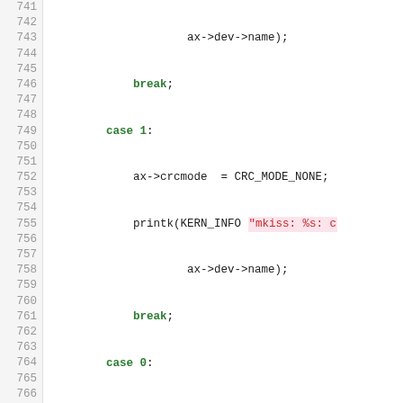[Figure (screenshot): Source code listing in C showing lines 741-767 of a kernel/network driver file, with syntax highlighting. Line numbers on left, code on right with colored keywords, strings, and comments.]